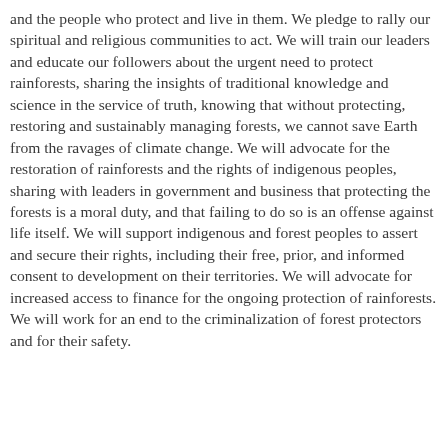and the people who protect and live in them. We pledge to rally our spiritual and religious communities to act. We will train our leaders and educate our followers about the urgent need to protect rainforests, sharing the insights of traditional knowledge and science in the service of truth, knowing that without protecting, restoring and sustainably managing forests, we cannot save Earth from the ravages of climate change. We will advocate for the restoration of rainforests and the rights of indigenous peoples, sharing with leaders in government and business that protecting the forests is a moral duty, and that failing to do so is an offense against life itself. We will support indigenous and forest peoples to assert and secure their rights, including their free, prior, and informed consent to development on their territories. We will advocate for increased access to finance for the ongoing protection of rainforests. We will work for an end to the criminalization of forest protectors and for their safety.